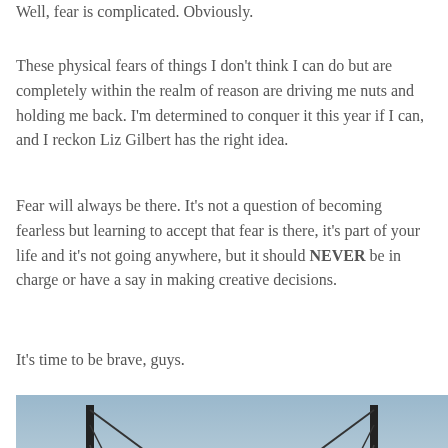Well, fear is complicated. Obviously.
These physical fears of things I don't think I can do but are completely within the realm of reason are driving me nuts and holding me back. I'm determined to conquer it this year if I can, and I reckon Liz Gilbert has the right idea.
Fear will always be there. It's not a question of becoming fearless but learning to accept that fear is there, it's part of your life and it's not going anywhere, but it should NEVER be in charge or have a say in making creative decisions.
It's time to be brave, guys.
[Figure (photo): A perspective view looking down a suspension bridge walkway with steel cables converging toward a vanishing point, misty landscape visible in the background.]